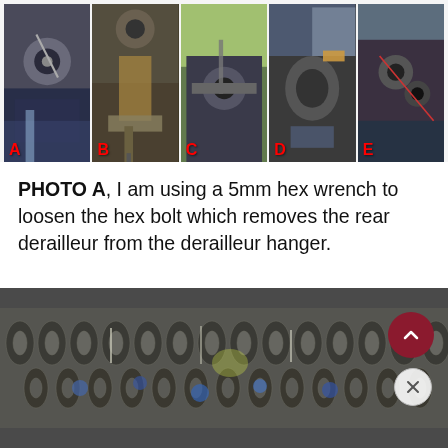[Figure (photo): Five close-up photos (A through E) of bicycle rear derailleur components, each labeled with a red letter. Photos show various angles of the derailleur, bolts, chain, and hanger connection points.]
PHOTO A, I am using a 5mm hex wrench to loosen the hex bolt which removes the rear derailleur from the derailleur hanger.
[Figure (photo): Close-up photo of a bicycle chain showing the individual links in detail, with a blurred background including blue and yellow elements.]